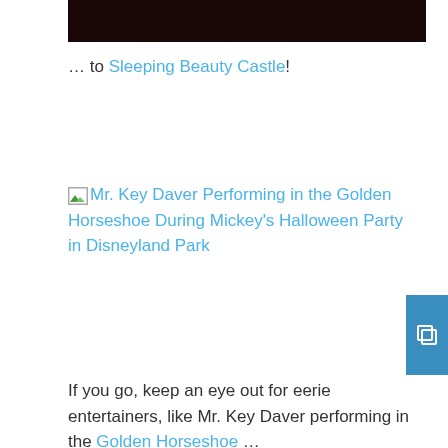[Figure (photo): Dark image at top of page, partially visible]
… to Sleeping Beauty Castle!
[Figure (photo): Broken image placeholder with link: Mr. Key Daver Performing in the Golden Horseshoe During Mickey's Halloween Party in Disneyland Park]
If you go, keep an eye out for eerie entertainers, like Mr. Key Daver performing in the Golden Horseshoe …